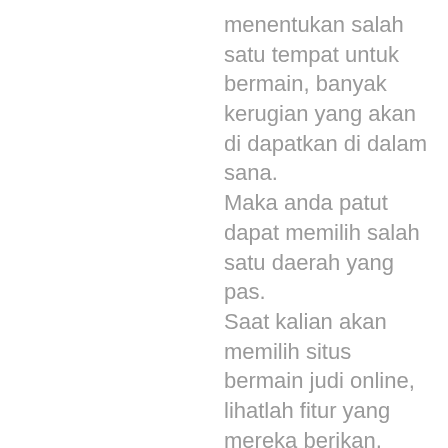menentukan salah satu tempat untuk bermain, banyak kerugian yang akan di dapatkan di dalam sana. Maka anda patut dapat memilih salah satu daerah yang pas. Saat kalian akan memilih situs bermain judi online, lihatlah fitur yang mereka berikan, pastikan kalian mampu bermain dengan baik dan menerima lebih banyak keberuntungan. Dalam